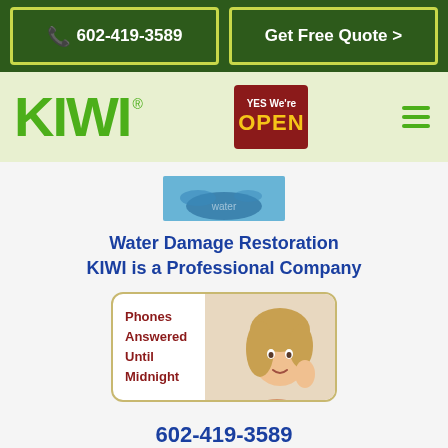📞 602-419-3589
Get Free Quote >
[Figure (logo): KIWI brand logo in bright green bold letters with registered trademark symbol, next to a red YES We're OPEN badge]
[Figure (photo): Water damage splash image - blue/water colored image at top of content area]
Water Damage Restoration
KIWI is a Professional Company
[Figure (photo): Phone operator image - woman with phone to ear, text reads Phones Answered Until Midnight in red]
602-419-3589